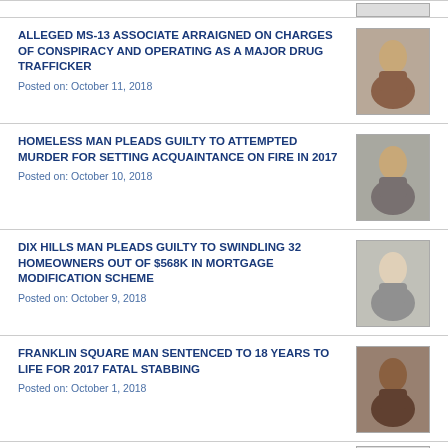ALLEGED MS-13 ASSOCIATE ARRAIGNED ON CHARGES OF CONSPIRACY AND OPERATING AS A MAJOR DRUG TRAFFICKER
Posted on: October 11, 2018
[Figure (photo): Mugshot of male suspect]
HOMELESS MAN PLEADS GUILTY TO ATTEMPTED MURDER FOR SETTING ACQUAINTANCE ON FIRE IN 2017
Posted on: October 10, 2018
[Figure (photo): Mugshot of male suspect]
DIX HILLS MAN PLEADS GUILTY TO SWINDLING 32 HOMEOWNERS OUT OF $568K IN MORTGAGE MODIFICATION SCHEME
Posted on: October 9, 2018
[Figure (photo): Mugshot of older male suspect]
FRANKLIN SQUARE MAN SENTENCED TO 18 YEARS TO LIFE FOR 2017 FATAL STABBING
Posted on: October 1, 2018
[Figure (photo): Mugshot of male suspect]